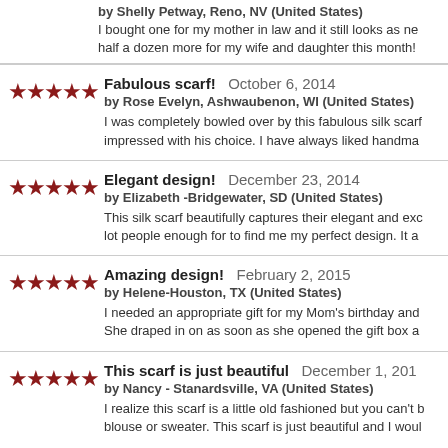by Shelly Petway, Reno, NV (United States)
I bought one for my mother in law and it still looks as ne... half a dozen more for my wife and daughter this month!
Fabulous scarf!  October 6, 2014
by Rose Evelyn, Ashwaubenon, WI (United States)
I was completely bowled over by this fabulous silk scarf... impressed with his choice. I have always liked handma...
Elegant design!  December 23, 2014
by Elizabeth -Bridgewater, SD (United States)
This silk scarf beautifully captures their elegant and exc... lot people enough for to find me my perfect design. It a...
Amazing design!  February 2, 2015
by Helene-Houston, TX (United States)
I needed an appropriate gift for my Mom's birthday and... She draped in on as soon as she opened the gift box a...
This scarf is just beautiful  December 1, 201...
by Nancy - Stanardsville, VA (United States)
I realize this scarf is a little old fashioned but you can't b... blouse or sweater. This scarf is just beautiful and I woul...